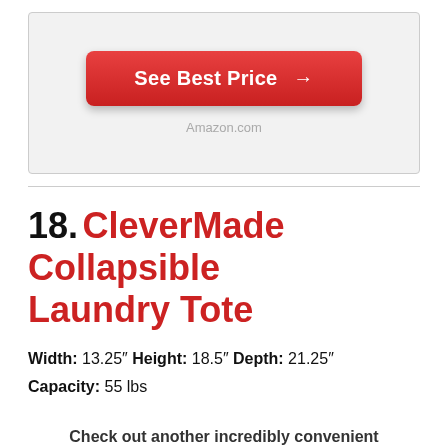[Figure (screenshot): A red button labeled 'See Best Price →' on a light grey background with 'Amazon.com' text below it]
18. CleverMade Collapsible Laundry Tote
Width: 13.25″ Height: 18.5″ Depth: 21.25″ Capacity: 55 lbs
Check out another incredibly convenient